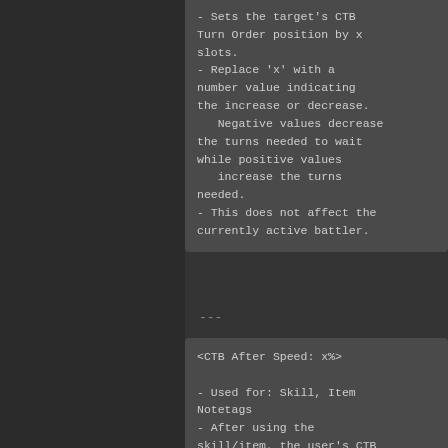- Sets the target's CTB Turn Order position by x slots.
- Replace 'x' with a number value indicating the increase or decrease.
   Negative values decrease the turns needed to wait while positive values
   increase the turns needed.
- This does not affect the currently active battler.
---
<CTB After Speed: x%>

- Used for: Skill, Item Notetags
- After using the skill/item, the user's CTB Speed will be set to x%.
- Replace 'x' with a